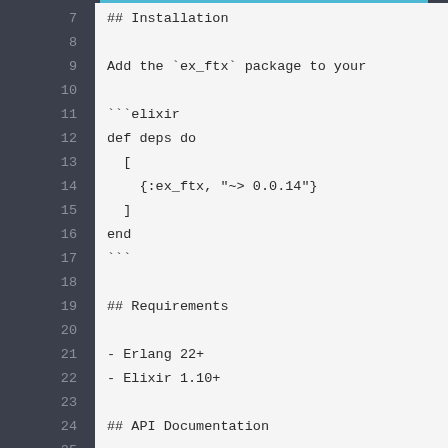7   ## Installation
8
9   Add the `ex_ftx` package to your
10
11  ```elixir
12  def deps do
13    [
14      {:ex_ftx, "~> 0.0.14"}
15    ]
16  end
17  ```
18
19  ## Requirements
20
21  - Erlang 22+
22  - Elixir 1.10+
23
24  ## API Documentation
25
26  https://docs.ftx.com/#overview
27